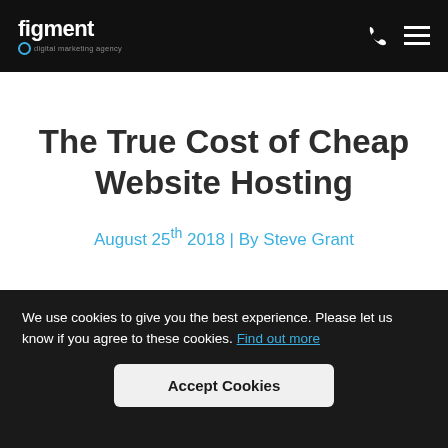figment digital marketing agency
The True Cost of Cheap Website Hosting
August 25th 2018 | By Steve Grant
We use cookies to give you the best experience. Please let us know if you agree to these cookies. Find out more
Accept Cookies